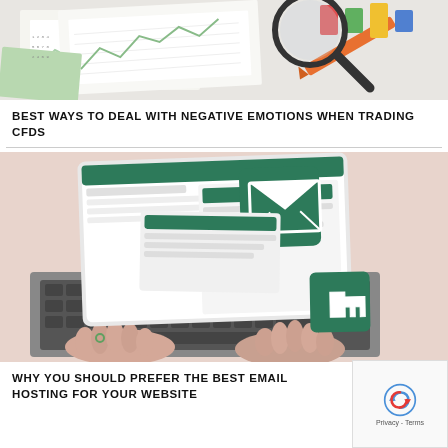[Figure (photo): Overhead view of financial charts and documents with a magnifying glass, colorful tabs, and papers on a desk]
BEST WAYS TO DEAL WITH NEGATIVE EMOTIONS WHEN TRADING CFDS
[Figure (photo): Person typing on a laptop with email interface and green envelope icons displayed on floating screen panels, pink background]
WHY YOU SHOULD PREFER THE BEST EMAIL HOSTING FOR YOUR WEBSITE